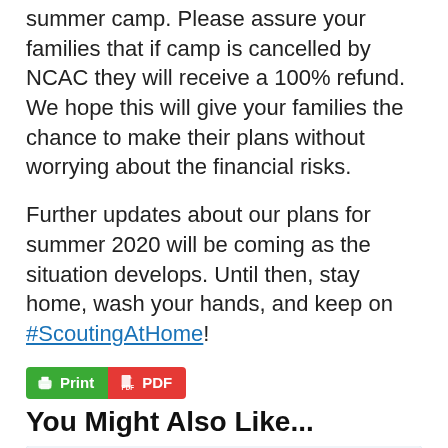summer camp. Please assure your families that if camp is cancelled by NCAC they will receive a 100% refund. We hope this will give your families the chance to make their plans without worrying about the financial risks.
Further updates about our plans for summer 2020 will be coming as the situation develops. Until then, stay home, wash your hands, and keep on #ScoutingAtHome!
[Figure (other): Print and PDF buttons: green Print button with printer icon, red PDF button with document icon]
You Might Also Like...
[Figure (photo): Photo card showing Camp Snyder, Haymarket, VA with two people, labeled AREA COUNCIL]